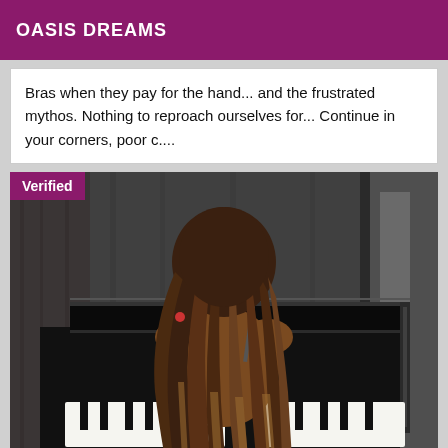OASIS DREAMS
Bras when they pay for the hand... and the frustrated mythos. Nothing to reproach ourselves for... Continue in your corners, poor c....
[Figure (photo): Woman with long braided hair sitting at a black grand piano, viewed from behind, wearing minimal clothing. A 'Verified' badge is overlaid in the top-left corner of the image.]